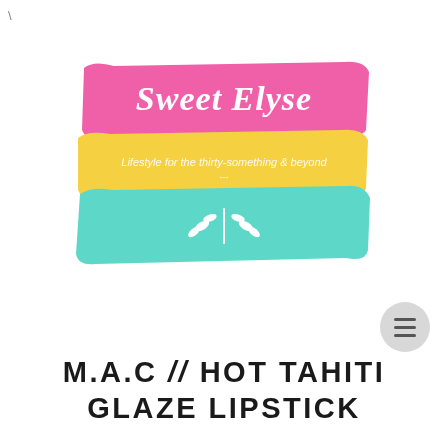[Figure (logo): Sweet Elyse blog logo with three horizontal paint brush strokes in pink, yellow, and teal. Pink stripe at top with cursive white text 'Sweet Elyse', yellow middle stripe with white italic text 'Lifestyle for the thirty-something & beyond ---', teal bottom stripe with white wheat/leaf decorative icon.]
M.A.C // HOT TAHITI GLAZE LIPSTICK